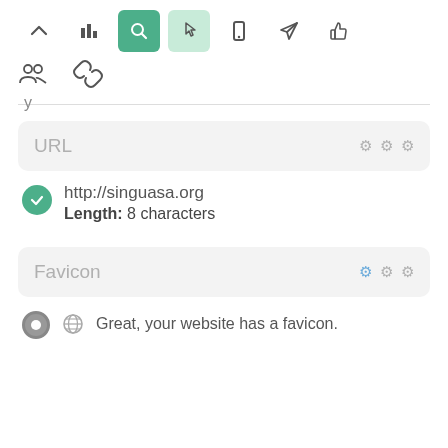[Figure (screenshot): Toolbar with icons: chevron up, bar chart, search (active dark green), pointer/hand (active light green), mobile, send/rocket, thumbs up]
[Figure (screenshot): Second toolbar row with two icons: group/people and chain/link icons]
URL
http://singuasa.org
Length: 8 characters
Favicon
Great, your website has a favicon.